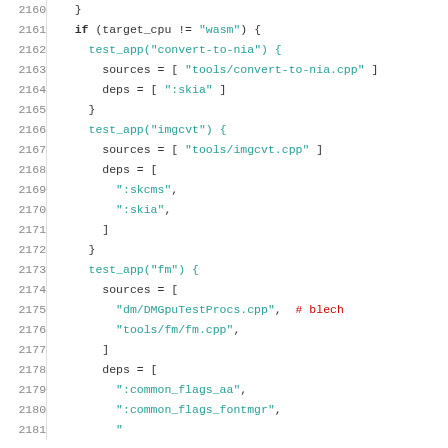[Figure (screenshot): Source code snippet in a build configuration language (GN/ninja style), showing lines 2160-2181 with line numbers on the left and syntax-highlighted code on the right. Contains test_app definitions for convert-to-nia, imgcvt, and fm with sources and deps.]